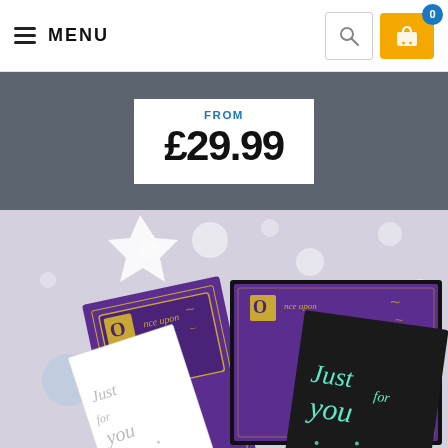≡ MENU
FROM £29.99
[Figure (photo): Product photo showing personalised storybook gift sets - purple hardback books titled 'Once upon a time' and greeting cards reading 'Just for you', one open in a gift box with purple lining, displayed on a light surface with decorative bokeh dots]